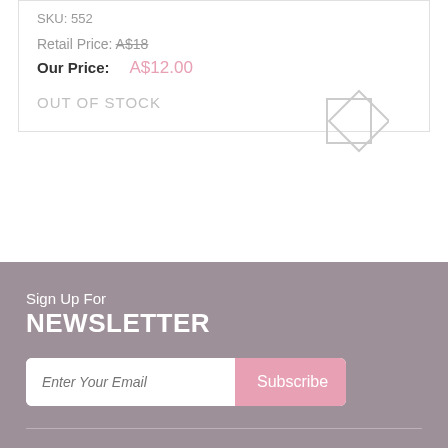SKU: 552
Retail Price: A$18
Our Price: A$12.00
OUT OF STOCK
[Figure (illustration): Placeholder image icon: overlapping square and diamond outline shapes in light gray]
Sign Up For
NEWSLETTER
Enter Your Email
Subscribe
CONTACT US